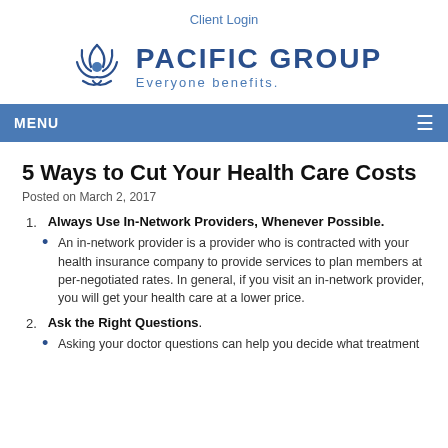Client Login
[Figure (logo): Pacific Group logo with sunburst icon and tagline 'Everyone benefits.']
MENU
5 Ways to Cut Your Health Care Costs
Posted on March 2, 2017
1. Always Use In-Network Providers, Whenever Possible.
An in-network provider is a provider who is contracted with your health insurance company to provide services to plan members at per-negotiated rates. In general, if you visit an in-network provider, you will get your health care at a lower price.
2. Ask the Right Questions.
Asking your doctor questions can help you decide what treatment